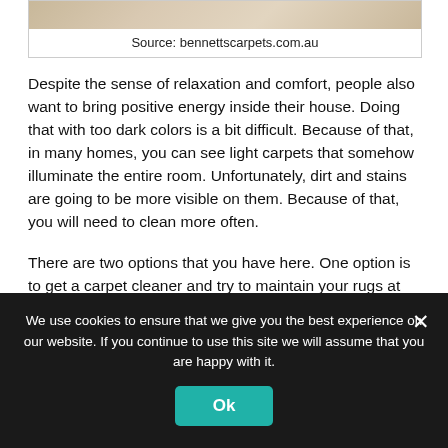[Figure (photo): Close-up photo of a light-colored carpet texture]
Source: bennettscarpets.com.au
Despite the sense of relaxation and comfort, people also want to bring positive energy inside their house. Doing that with too dark colors is a bit difficult. Because of that, in many homes, you can see light carpets that somehow illuminate the entire room. Unfortunately, dirt and stains are going to be more visible on them. Because of that, you will need to clean more often.
There are two options that you have here. One option is to get a carpet cleaner and try to maintain your rugs at least once a month. Another
We use cookies to ensure that we give you the best experience on our website. If you continue to use this site we will assume that you are happy with it.